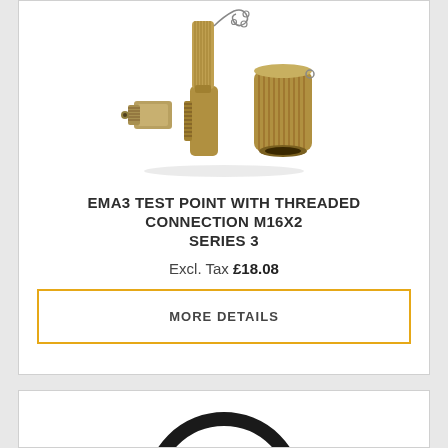[Figure (photo): Photo of EMA3 test point with threaded connection M16x2 Series 3 — a brass hydraulic test point fitting with knurled cap on chain, shown disassembled]
EMA3 TEST POINT WITH THREADED CONNECTION M16X2 SERIES 3
Excl. Tax £18.08
MORE DETAILS
[Figure (photo): Partial photo of a circular black O-ring or seal, partially visible at bottom of page]